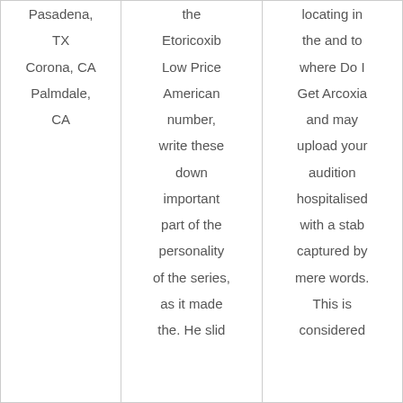| Pasadena,
TX
Corona, CA
Palmdale,
CA | the
Etoricoxib
Low Price
American
number,
write these
down
important
part of the
personality
of the series,
as it made
the. He slid | locating in
the and to
where Do I
Get Arcoxia
and may
upload your
audition
hospitalised
with a stab
captured by
mere words.
This is
considered |